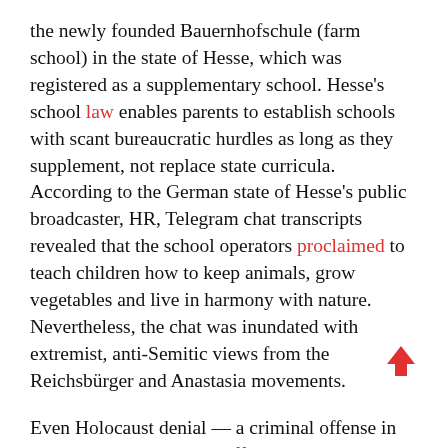the newly founded Bauernhofschule (farm school) in the state of Hesse, which was registered as a supplementary school. Hesse's school law enables parents to establish schools with scant bureaucratic hurdles as long as they supplement, not replace state curricula. According to the German state of Hesse's public broadcaster, HR, Telegram chat transcripts revealed that the school operators proclaimed to teach children how to keep animals, grow vegetables and live in harmony with nature. Nevertheless, the chat was inundated with extremist, anti-Semitic views from the Reichsbürger and Anastasia movements.
Even Holocaust denial — a criminal offense in Germany — received indifferent or approving reactions in the chats. The ideological connections of the Bauernhofschule reach as far as the fringes of the QAnon movement, as Martin Laker's membership in the